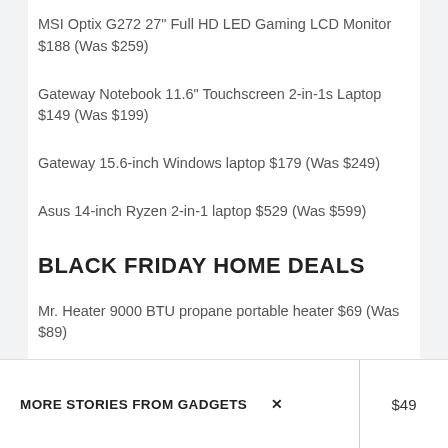MSI Optix G272 27" Full HD LED Gaming LCD Monitor $188 (Was $259)
Gateway Notebook 11.6" Touchscreen 2-in-1s Laptop $149 (Was $199)
Gateway 15.6-inch Windows laptop $179 (Was $249)
Asus 14-inch Ryzen 2-in-1 laptop $529 (Was $599)
BLACK FRIDAY HOME DEALS
Mr. Heater 9000 BTU propane portable heater $69 (Was $89)
MORE STORIES FROM GADGETS
$49